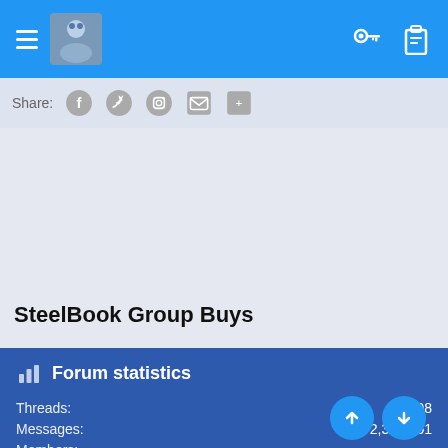Navigation bar with hamburger menu, avatar, key icon, clipboard icon
Share:
SteelBook Group Buys
Forum statistics
Threads: 98,898
Messages: 2,322,751
Members:
Latest member: SunnyRivers